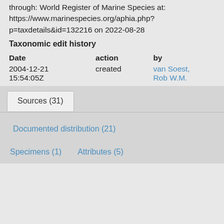through: World Register of Marine Species at: https://www.marinespecies.org/aphia.php?p=taxdetails&id=132216 on 2022-08-28
Taxonomic edit history
| Date | action | by |
| --- | --- | --- |
| 2004-12-21 15:54:05Z | created | van Soest, Rob W.M. |
| 2006-10-15 09:09:18Z | changed | van Soest, Rob W.M. |
Licensing
The webpage text is licensed under a Creative Commons Attribution 4.0 License
[taxonomic tree]
Sources (31)
Documented distribution (21)
Specimens (1)
Attributes (5)